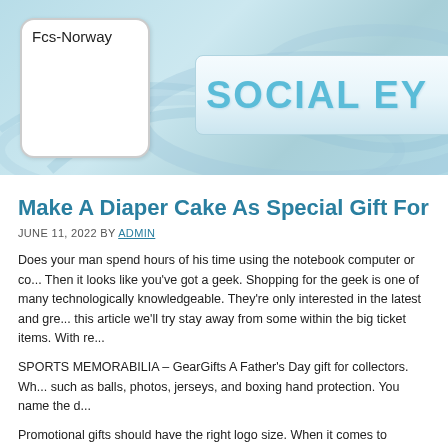Fcs-Norway | SOCIAL EY[E]
Make A Diaper Cake As Special Gift For Babies
JUNE 11, 2022 BY ADMIN
Does your man spend hours of his time using the notebook computer or co... Then it looks like you've got a geek. Shopping for the geek is one of many technologically knowledgeable. They're only interested in the latest and gre... this article we'll try stay away from some within the big ticket items. With re...
SPORTS MEMORABILIA – GearGifts A Father's Day gift for collectors. Wh... such as balls, photos, jerseys, and boxing hand protection. You name the d...
Promotional gifts should have the right logo size. When it comes to obvious... gigantic print of one's company logo at any portion of a tee shirt will cause it out around the streets?